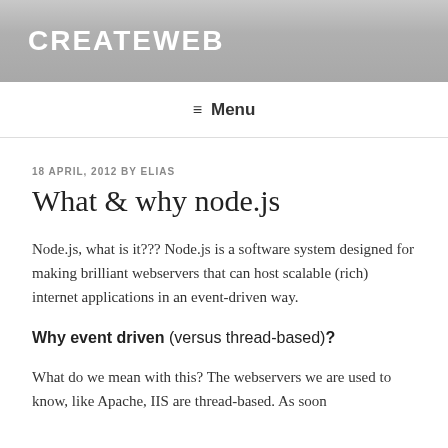CREATEWEB
≡ Menu
18 APRIL, 2012 BY ELIAS
What & why node.js
Node.js, what is it??? Node.js is a software system designed for making brilliant webservers that can host scalable (rich) internet applications in an event-driven way.
Why event driven (versus thread-based)?
What do we mean with this? The webservers we are used to know, like Apache, IIS are thread-based. As soon